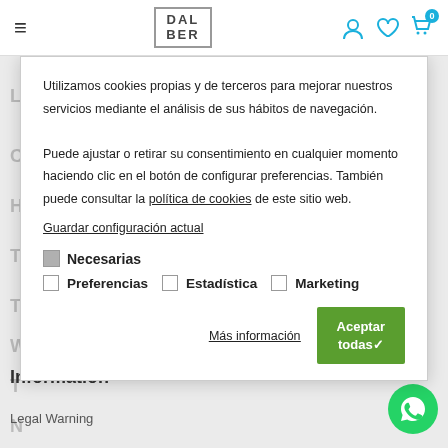[Figure (screenshot): Website header with hamburger menu icon on left, DALBER logo in center, and user/wishlist/cart icons on right]
Utilizamos cookies propias y de terceros para mejorar nuestros servicios mediante el análisis de sus hábitos de navegación.

Puede ajustar o retirar su consentimiento en cualquier momento haciendo clic en el botón de configurar preferencias. También puede consultar la política de cookies de este sitio web.
Guardar configuración actual
✓ Necesarias
□ Preferencias  □ Estadística  □ Marketing
Más información
Aceptar todas✓
Information
Legal Warning